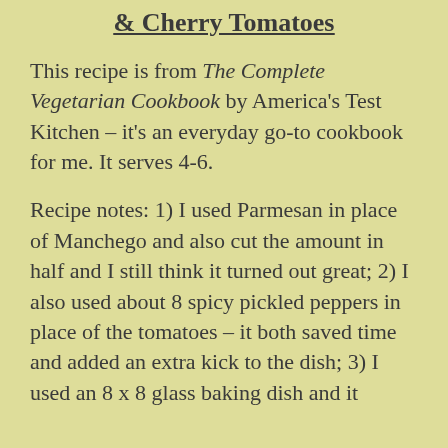& Cherry Tomatoes
This recipe is from The Complete Vegetarian Cookbook by America's Test Kitchen – it's an everyday go-to cookbook for me. It serves 4-6.
Recipe notes: 1) I used Parmesan in place of Manchego and also cut the amount in half and I still think it turned out great; 2) I also used about 8 spicy pickled peppers in place of the tomatoes – it both saved time and added an extra kick to the dish; 3) I used an 8 x 8 glass baking dish and it